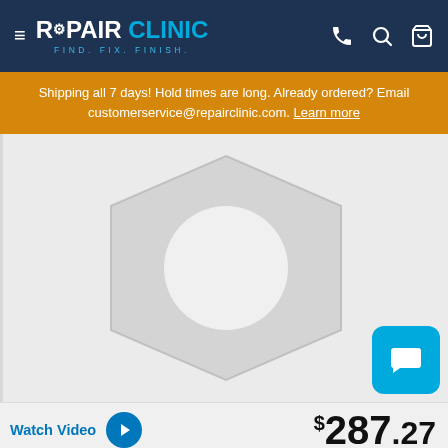REPAIR CLINIC — FIND. FIX. FINISH.
Shipping all 7 days! Hold times are long. Already ordered? Email customerservice@repairclinic.com. Learn more
[Figure (illustration): Gray hexagonal bolt/nut placeholder product image on light gray background]
Watch Video
$287.27